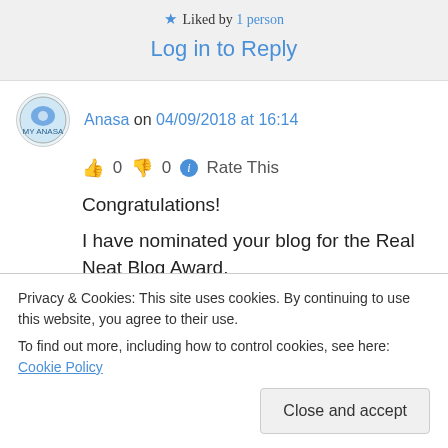★ Liked by 1 person
Log in to Reply
Anasa on 04/09/2018 at 16:14
👍 0 👎 0 ℹ Rate This
Congratulations!
I have nominated your blog for the Real Neat Blog Award.
Privacy & Cookies: This site uses cookies. By continuing to use this website, you agree to their use.
To find out more, including how to control cookies, see here: Cookie Policy
Close and accept